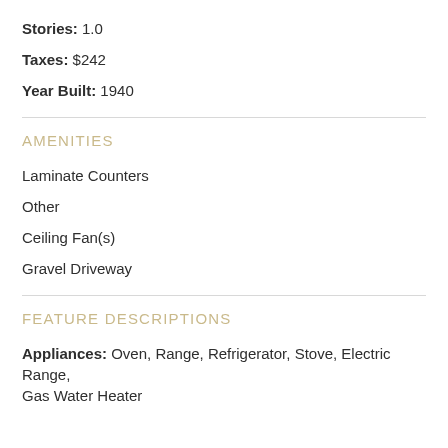Stories: 1.0
Taxes: $242
Year Built: 1940
AMENITIES
Laminate Counters
Other
Ceiling Fan(s)
Gravel Driveway
FEATURE DESCRIPTIONS
Appliances: Oven, Range, Refrigerator, Stove, Electric Range, Gas Water Heater